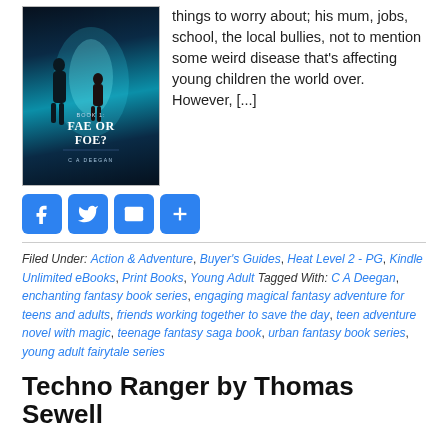[Figure (illustration): Book cover for 'Book 1: Fae or Foe?' by C A Deegan. Dark blue/teal background with silhouettes of figures walking toward a bright light. Title text in white serif font.]
things to worry about; his mum, jobs, school, the local bullies, not to mention some weird disease that's affecting young children the world over. However, [...]
[Figure (infographic): Social sharing buttons: Facebook (f), Twitter (bird), Email (envelope), Share (plus sign) — all blue rounded square buttons.]
Filed Under: Action & Adventure, Buyer's Guides, Heat Level 2 - PG, Kindle Unlimited eBooks, Print Books, Young Adult Tagged With: C A Deegan, enchanting fantasy book series, engaging magical fantasy adventure for teens and adults, friends working together to save the day, teen adventure novel with magic, teenage fantasy saga book, urban fantasy book series, young adult fairytale series
Techno Ranger by Thomas Sewell